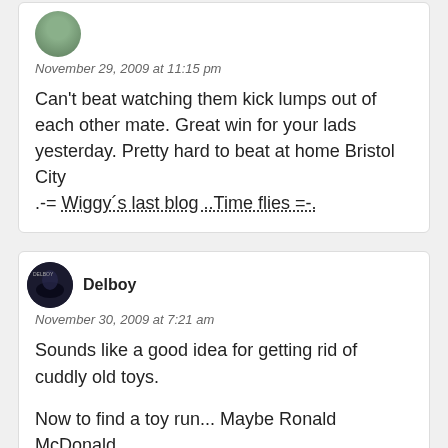November 29, 2009 at 11:15 pm
Can't beat watching them kick lumps out of each other mate. Great win for your lads yesterday. Pretty hard to beat at home Bristol City .-= Wiggy´s last blog ..Time flies =-.
Delboy
November 30, 2009 at 7:21 am
Sounds like a good idea for getting rid of cuddly old toys.
Now to find a toy run... Maybe Ronald McDonald